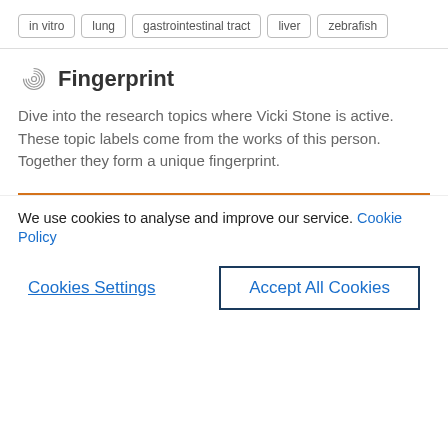in vitro
lung
gastrointestinal tract
liver
zebrafish
Fingerprint
Dive into the research topics where Vicki Stone is active. These topic labels come from the works of this person. Together they form a unique fingerprint.
We use cookies to analyse and improve our service. Cookie Policy
Cookies Settings
Accept All Cookies